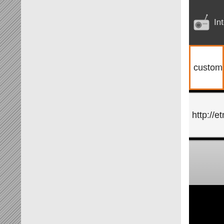[Figure (screenshot): Partial screenshot of an Android internet radio application UI. Left side shows a diagonal-striped gray texture panel. Middle section is a light gray panel. Right side shows a dark-themed app dialog with a radio icon, the title 'Inter...' (truncated), and two white input fields. First field has orange border and shows 'custom s...' (truncated), second field shows 'http://etr...' (truncated), third element is a gray button. Bottom is black.]